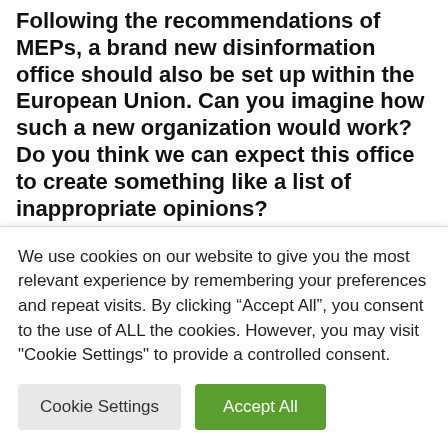Following the recommendations of MEPs, a brand new disinformation office should also be set up within the European Union. Can you imagine how such a new organization would work? Do you think we can expect this office to create something like a list of inappropriate opinions?
Exactly. The European...
We use cookies on our website to give you the most relevant experience by remembering your preferences and repeat visits. By clicking “Accept All”, you consent to the use of ALL the cookies. However, you may visit "Cookie Settings" to provide a controlled consent.